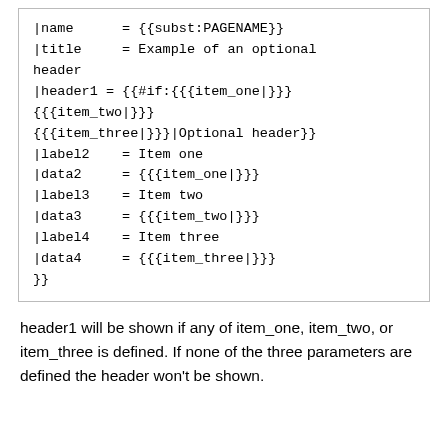|name      = {{subst:PAGENAME}}
|title     = Example of an optional header
|header1 = {{#if:{{{item_one|}}}
{{{item_two|}}}
{{{item_three|}}}|Optional header}}
|label2    = Item one
|data2     = {{{item_one|}}}
|label3    = Item two
|data3     = {{{item_two|}}}
|label4    = Item three
|data4     = {{{item_three|}}}
}}
header1 will be shown if any of item_one, item_two, or item_three is defined. If none of the three parameters are defined the header won't be shown.